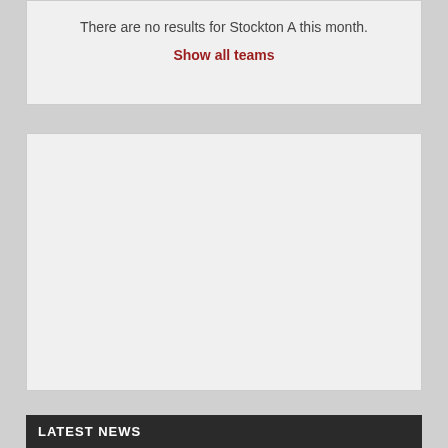There are no results for Stockton A this month.
Show all teams
[Figure (other): Empty grey content box, no content visible]
LATEST NEWS